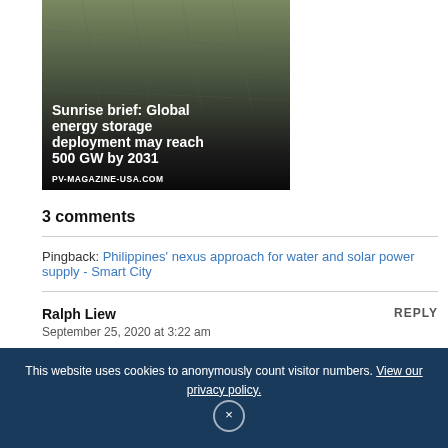[Figure (photo): Article card image with aerial photo of solar panels/energy facility with dark overlay. Title text 'Sunrise brief: Global energy storage deployment may reach 500 GW by 2031' in white, source 'PV-MAGAZINE-USA.COM' at bottom.]
3 comments
Pingback: Philippines' nexus approach for water and solar power supply - Smart City
Ralph Liew
September 25, 2020 at 3:22 am
Makes a lot of sense to farm the calm waters if lakes, rivers, bays to generate solar PV energy for irrigation, and power to empower communities with green technologies.
This website uses cookies to anonymously count visitor numbers. View our privacy policy. ×